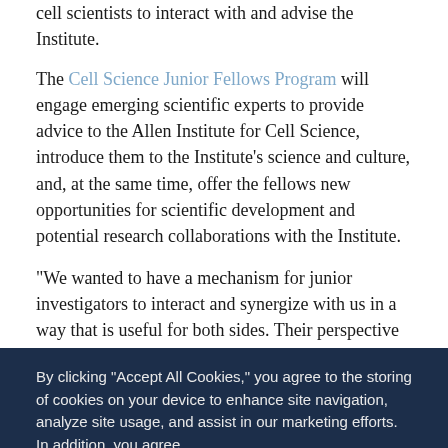cell scientists to interact with and advise the Institute.
The Cell Science Junior Fellows Program will engage emerging scientific experts to provide advice to the Allen Institute for Cell Science, introduce them to the Institute's science and culture, and, at the same time, offer the fellows new opportunities for scientific development and potential research collaborations with the Institute.
“We wanted to have a mechanism for junior investigators to interact and synergize with us in a way that is useful for both sides. Their perspective is important and we’re excited to have them join our Advisory Councils,” said Susanne Rafelski, Ph.D., Director of Assay Development and a Deputy Director of the Allen Institute for Cell Science. “These three researchers are really on the cutting edge of biology and we have no doubt they will be leaders in their fields.”
The Junior Fellows will serve a three-year term, participating in the Allen Institute for Cell Science’s existing scientific advisory councils.
By clicking “Accept All Cookies,” you agree to the storing of cookies on your device to enhance site navigation, analyze site usage, and assist in our marketing efforts. In addition, you agree